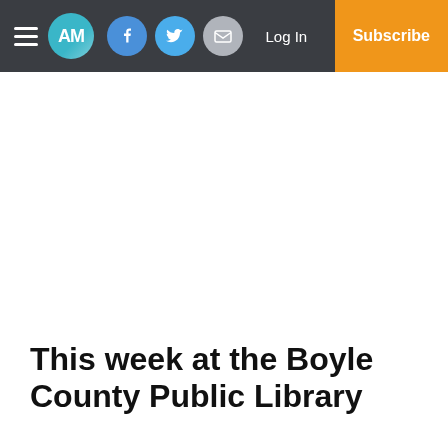AM | Facebook | Twitter | Email | Log In | Subscribe
This week at the Boyle County Public Library